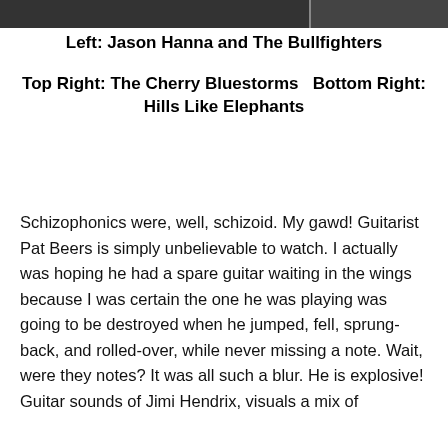[Figure (photo): Black and white photo strip at the top showing two images: left image is Jason Hanna and The Bullfighters, right image is The Cherry Bluestorms / Hills Like Elephants]
Left: Jason Hanna and The Bullfighters
Top Right: The Cherry Bluestorms    Bottom Right: Hills Like Elephants
Schizophonics were, well, schizoid. My gawd! Guitarist Pat Beers is simply unbelievable to watch. I actually was hoping he had a spare guitar waiting in the wings because I was certain the one he was playing was going to be destroyed when he jumped, fell, sprung-back, and rolled-over, while never missing a note. Wait, were they notes? It was all such a blur. He is explosive! Guitar sounds of Jimi Hendrix, visuals a mix of